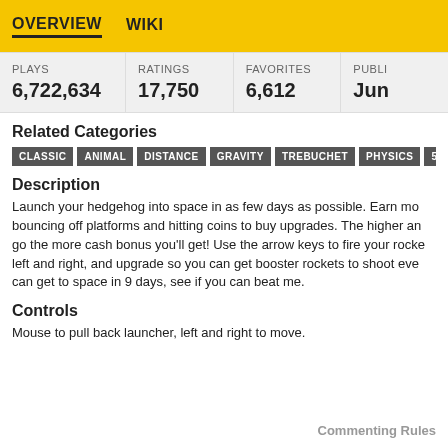OVERVIEW   WIKI
| PLAYS | RATINGS | FAVORITES | PUBLI... |
| --- | --- | --- | --- |
| 6,722,634 | 17,750 | 6,612 | Jun ... |
Related Categories
CLASSIC   ANIMAL   DISTANCE   GRAVITY   TREBUCHET   PHYSICS   5 MINUT...
Description
Launch your hedgehog into space in as few days as possible. Earn mo... bouncing off platforms and hitting coins to buy upgrades. The higher an... go the more cash bonus you'll get! Use the arrow keys to fire your rocke... left and right, and upgrade so you can get booster rockets to shoot eve... can get to space in 9 days, see if you can beat me.
Controls
Mouse to pull back launcher, left and right to move.
Commenting Rules